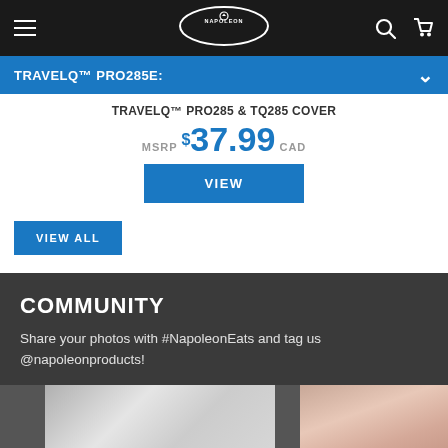[Figure (screenshot): Napoleon brand navigation bar with hamburger menu, Napoleon logo in oval, search and cart icons on black background]
TRAVELQ™ PRO285E:
TRAVELQ™ PRO285 & TQ285 COVER
MSRP $37.99 CAD
VIEW
VIEW ALL
COMMUNITY
Share your photos with #NapoleonEats and tag us @napoleonproducts!
[Figure (photo): Community user-generated photos showing grilling/kitchen scene and a person]